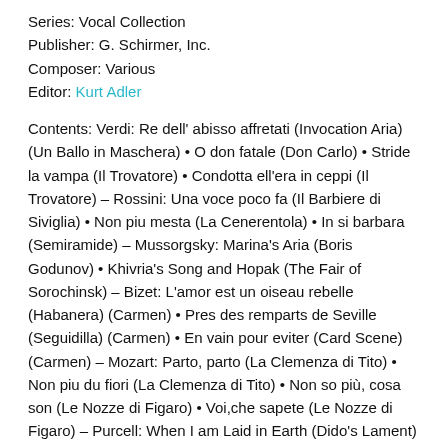Series: Vocal Collection
Publisher: G. Schirmer, Inc.
Composer: Various
Editor: Kurt Adler
Contents: Verdi: Re dell' abisso affretati (Invocation Aria) (Un Ballo in Maschera) • O don fatale (Don Carlo) • Stride la vampa (Il Trovatore) • Condotta ell'era in ceppi (Il Trovatore) – Rossini: Una voce poco fa (Il Barbiere di Siviglia) • Non piu mesta (La Cenerentola) • In si barbara (Semiramide) – Mussorgsky: Marina's Aria (Boris Godunov) • Khivria's Song and Hopak (The Fair of Sorochinsk) – Bizet: L'amor est un oiseau rebelle (Habanera) (Carmen) • Pres des remparts de Seville (Seguidilla) (Carmen) • En vain pour eviter (Card Scene) (Carmen) – Mozart: Parto, parto (La Clemenza di Tito) • Non piu du fiori (La Clemenza di Tito) • Non so più, cosa son (Le Nozze di Figaro) • Voi,che sapete (Le Nozze di Figaro) – Purcell: When I am Laid in Earth (Dido's Lament) (Dido and Aeneas) – Gounod: Faites-lui mes aveux (Faust) • Que fais-tu, blanche tourterelle (Roméo et Juliette) – Donizetti: O mio Fernando (La Favorita) – J. Strauss: Chacun a son gout (Prince Orlosky's